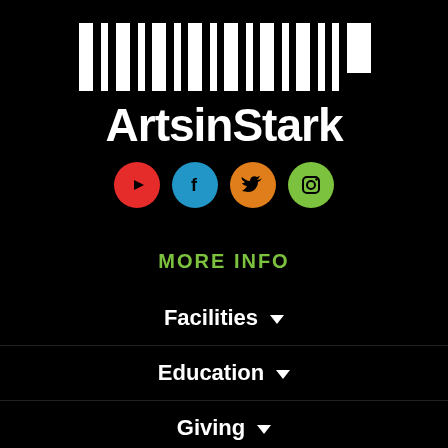[Figure (logo): ArtsinStark logo with barcode-style graphic above the text 'ArtsinStark']
[Figure (infographic): Four social media icon circles: YouTube (red), Facebook (blue), Twitter (orange), Instagram (green)]
MORE INFO
Facilities ▾
Education ▾
Giving ▾
About Us ▾
Job Opportunities